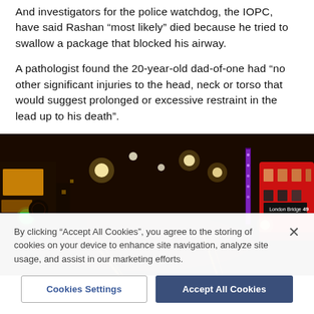And investigators for the police watchdog, the IOPC, have said Rashan “most likely” died because he tried to swallow a package that blocked his airway.
A pathologist found the 20-year-old dad-of-one had “no other significant injuries to the head, neck or torso that would suggest prolonged or excessive restraint in the lead up to his death”.
[Figure (photo): Night street scene of a London street with city lights, illuminated signs, a purple-lit tower in the background, and a red double-decker bus on the right side showing 'London Bridge' destination.]
By clicking “Accept All Cookies”, you agree to the storing of cookies on your device to enhance site navigation, analyze site usage, and assist in our marketing efforts.